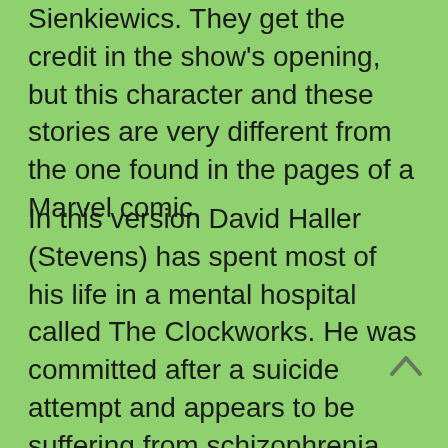Sienkiewics. They get the credit in the show's opening, but this character and these stories are very different from the one found in the pages of a Marvel comic.
In this version David Haller (Stevens) has spent most of his life in a mental hospital called The Clockworks. He was committed after a suicide attempt and appears to be suffering from schizophrenia and severe hallucinations. What we quickly discover is that he's the subject of study by a government agency tasked with